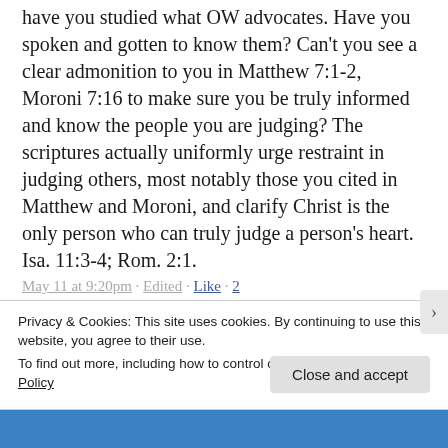have you studied what OW advocates. Have you spoken and gotten to know them? Can't you see a clear admonition to you in Matthew 7:1-2, Moroni 7:16 to make sure you be truly informed and know the people you are judging? The scriptures actually uniformly urge restraint in judging others, most notably those you cited in Matthew and Moroni, and clarify Christ is the only person who can truly judge a person's heart. Isa. 11:3-4; Rom. 2:1.
May 11 at 9:20pm · Edited · Like · 2
Kristy Money Hi Brother and Sister Shurtleff, Kristy Money here, from SC. I'm so glad you
Privacy & Cookies: This site uses cookies. By continuing to use this website, you agree to their use.
To find out more, including how to control cookies, see here: Cookie Policy